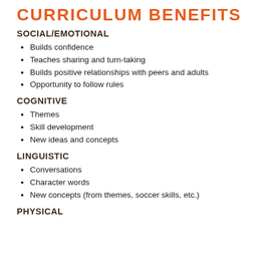CURRICULUM BENEFITS
SOCIAL/EMOTIONAL
Builds confidence
Teaches sharing and turn-taking
Builds positive relationships with peers and adults
Opportunity to follow rules
COGNITIVE
Themes
Skill development
New ideas and concepts
LINGUISTIC
Conversations
Character words
New concepts (from themes, soccer skills, etc.)
PHYSICAL